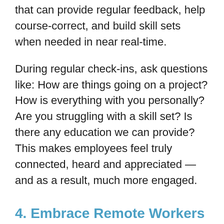that can provide regular feedback, help course-correct, and build skill sets when needed in near real-time.
During regular check-ins, ask questions like: How are things going on a project? How is everything with you personally? Are you struggling with a skill set? Is there any education we can provide? This makes employees feel truly connected, heard and appreciated — and as a result, much more engaged.
4. Embrace Remote Workers